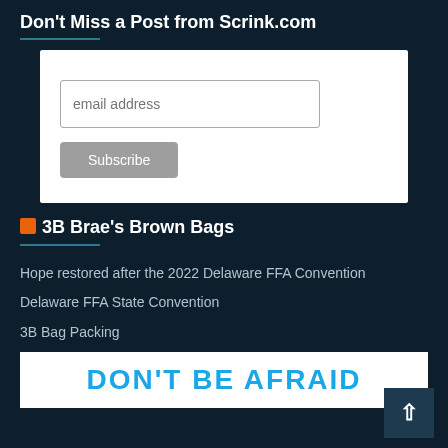Don't Miss a Post from Scrink.com
[Figure (screenshot): Email subscription form with email address input field and Subscribe button on white background]
3B Brae's Brown Bags
Hope restored after the 2022 Delaware FFA Convention
Delaware FFA State Convention
3B Bag Packing
[Figure (illustration): DON'T BE AFRAID text graphic in bold blue letters on white background]